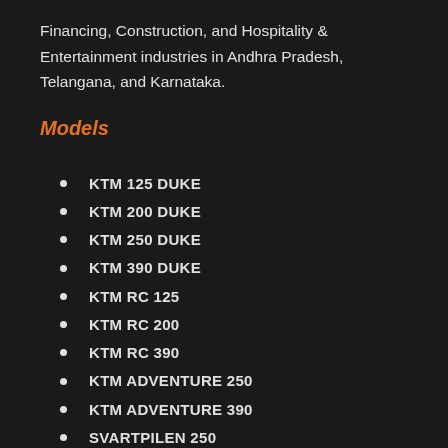Financing, Construction, and Hospitality & Entertainment industries in Andhra Pradesh, Telangana, and Karnataka.
Models
KTM 125 DUKE
KTM 200 DUKE
KTM 250 DUKE
KTM 390 DUKE
KTM RC 125
KTM RC 200
KTM RC 390
KTM ADVENTURE 250
KTM ADVENTURE 390
SVARTPILEN 250